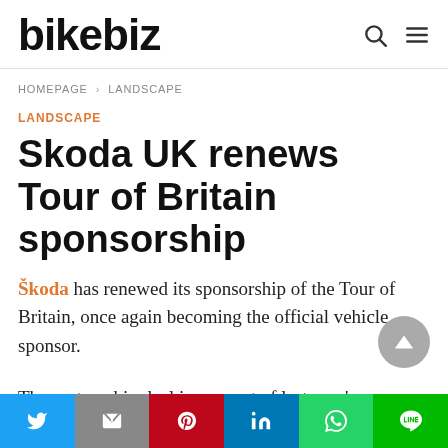bikebiz
HOMEPAGE > LANDSCAPE
LANDSCAPE
Skoda UK renews Tour of Britain sponsorship
Škoda has renewed its sponsorship of the Tour of Britain, once again becoming the official vehicle sponsor.
The partnership deal is a repeat of last year's
Social share bar: Twitter, Gmail, Pinterest, LinkedIn, WhatsApp, Line